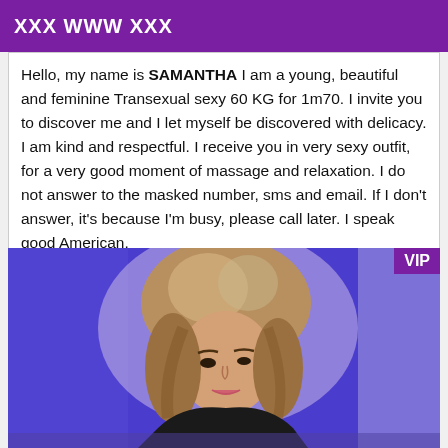XXX WWW XXX
Hello, my name is SAMANTHA I am a young, beautiful and feminine Transexual sexy 60 KG for 1m70. I invite you to discover me and I let myself be discovered with delicacy. I am kind and respectful. I receive you in very sexy outfit, for a very good moment of massage and relaxation. I do not answer to the masked number, sms and email. If I don't answer, it's because I'm busy, please call later. I speak good American.
[Figure (photo): Photo of a person with blonde/brown hair, posing indoors with blue/purple tinted background. VIP badge in top-right corner.]